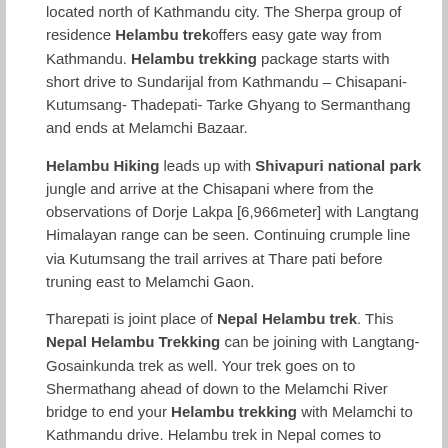located north of Kathmandu city. The Sherpa group of residence Helambu trek offers easy gate way from Kathmandu. Helambu trekking package starts with short drive to Sundarijal from Kathmandu – Chisapani-Kutumsang- Thadepati- Tarke Ghyang to Sermanthang and ends at Melamchi Bazaar.
Helambu Hiking leads up with Shivapuri national park jungle and arrive at the Chisapani where from the observations of Dorje Lakpa [6,966meter] with Langtang Himalayan range can be seen. Continuing crumple line via Kutumsang the trail arrives at Thare pati before truning east to Melamchi Gaon.
Tharepati is joint place of Nepal Helambu trek. This Nepal Helambu Trekking can be joining with Langtang-Gosainkunda trek as well. Your trek goes on to Shermathang ahead of down to the Melamchi River bridge to end your Helambu trekking with Melamchi to Kathmandu drive. Helambu trek in Nepal comes to Birsingh and bring observation